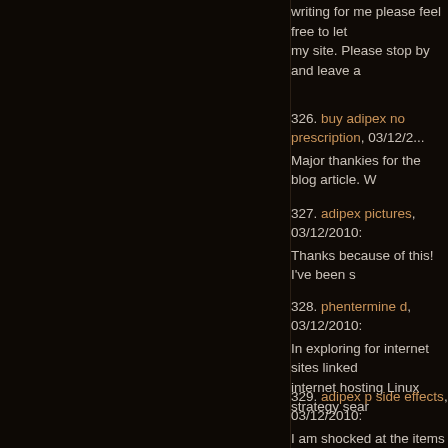writing for me please feel free to let my site. Please stop by and leave a
326. buy adipex no prescription, 03/12/2... Major thankies for the blog article. W
327. adipex pictures, 03/12/2010: Thanks because of this! I've been s
328. phentermine d, 03/12/2010: In exploring for internet sites linked internet hosting Linux strategy sear
329. adipex p side effects, 03/12/2010: I am shocked at the items I overloo information.